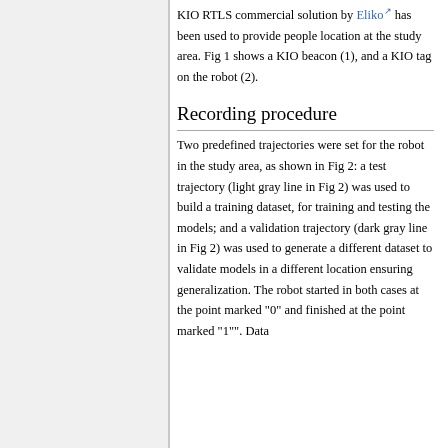KIO RTLS commercial solution by Eliko has been used to provide people location at the study area. Fig 1 shows a KIO beacon (1), and a KIO tag on the robot (2).
Recording procedure
Two predefined trajectories were set for the robot in the study area, as shown in Fig 2: a test trajectory (light gray line in Fig 2) was used to build a training dataset, for training and testing the models; and a validation trajectory (dark gray line in Fig 2) was used to generate a different dataset to validate models in a different location ensuring generalization. The robot started in both cases at the point marked "0" and finished at the point marked "1"". Data